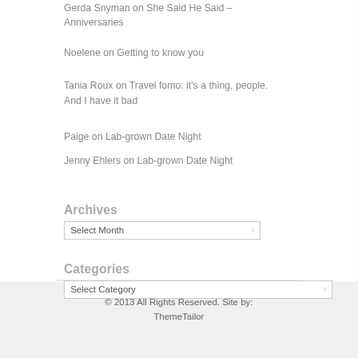Gerda Snyman on She Said He Said – Anniversaries
Noelene on Getting to know you
Tania Roux on Travel fomo: it's a thing, people. And I have it bad
Paige on Lab-grown Date Night
Jenny Ehlers on Lab-grown Date Night
Archives
[Figure (other): Select Month dropdown widget]
Categories
[Figure (other): Select Category dropdown widget]
© 2013 All Rights Reserved. Site by: ThemeTailor